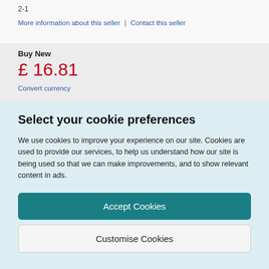2-1
More information about this seller | Contact this seller
Buy New
£ 16.81
Convert currency
Select your cookie preferences
We use cookies to improve your experience on our site. Cookies are used to provide our services, to help us understand how our site is being used so that we can make improvements, and to show relevant content in ads.
Accept Cookies
Customise Cookies